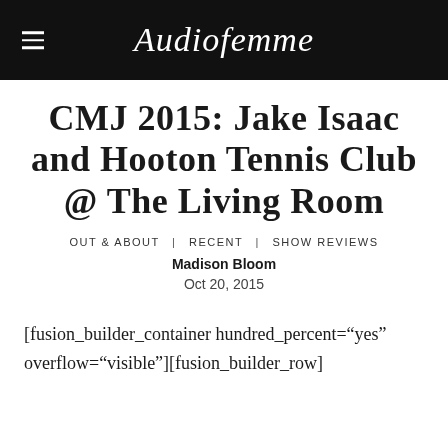Audiofemme
CMJ 2015: Jake Isaac and Hooton Tennis Club @ The Living Room
OUT & ABOUT | RECENT | SHOW REVIEWS
Madison Bloom
Oct 20, 2015
[fusion_builder_container hundred_percent="yes" overflow="visible"][fusion_builder_row]